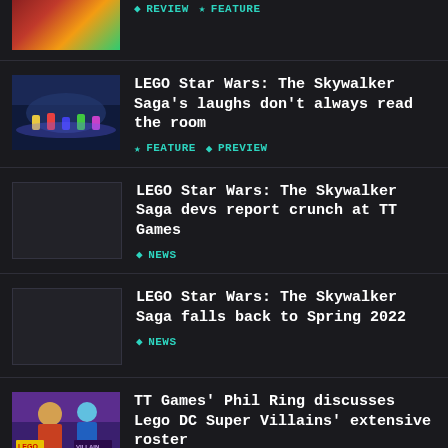[Partial article - cropped at top] REVIEW | FEATURE tags
LEGO Star Wars: The Skywalker Saga's laughs don't always read the room | FEATURE | PREVIEW
LEGO Star Wars: The Skywalker Saga devs report crunch at TT Games | NEWS
LEGO Star Wars: The Skywalker Saga falls back to Spring 2022 | NEWS
TT Games' Phil Ring discusses Lego DC Super Villains' extensive roster